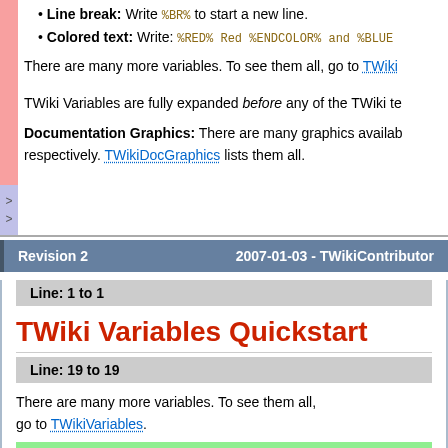Line break: Write %BR% to start a new line.
Colored text: Write: %RED% Red %ENDCOLOR% and %BLUE
There are many more variables. To see them all, go to TWiki
TWiki Variables are fully expanded before any of the TWiki te
Documentation Graphics: There are many graphics availa respectively. TWikiDocGraphics lists them all.
Revision 2    2007-01-03 - TWikiContributor
Line: 1 to 1
TWiki Variables Quickstart
Line: 19 to 19
There are many more variables. To see them all, go to TWikiVariables.